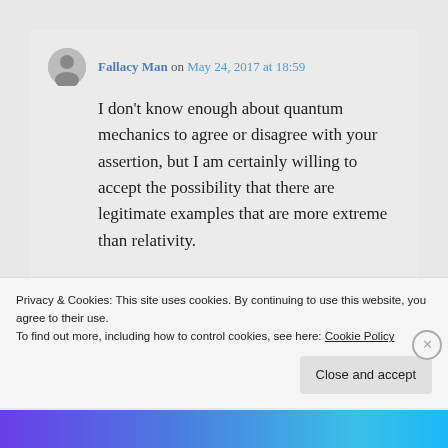Fallacy Man on May 24, 2017 at 18:59
I don't know enough about quantum mechanics to agree or disagree with your assertion, but I am certainly willing to accept the possibility that there are legitimate examples that are more extreme than relativity.
I've fixed the typo. Thanks.
Privacy & Cookies: This site uses cookies. By continuing to use this website, you agree to their use.
To find out more, including how to control cookies, see here: Cookie Policy